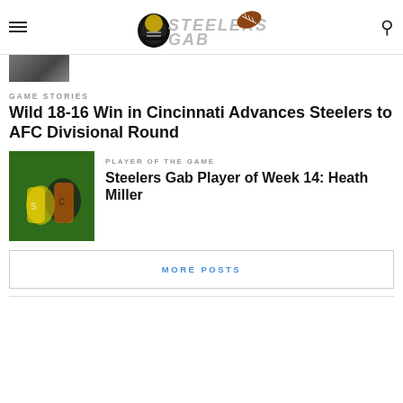Steelers Gab
[Figure (photo): Partial image visible at top of page, appears to be a sports/game photo]
GAME STORIES
Wild 18-16 Win in Cincinnati Advances Steelers to AFC Divisional Round
[Figure (photo): Football player in Bengals game action, Steelers vs Bengals]
PLAYER OF THE GAME
Steelers Gab Player of Week 14: Heath Miller
MORE POSTS